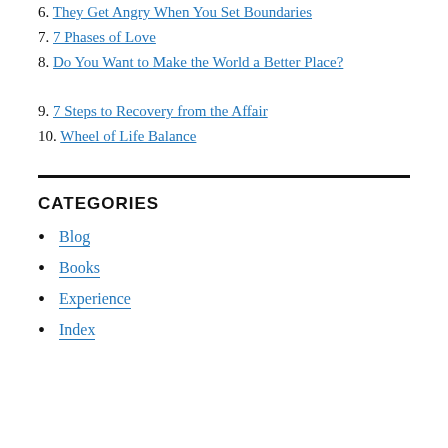6. They Get Angry When You Set Boundaries
7. 7 Phases of Love
8. Do You Want to Make the World a Better Place?
9. 7 Steps to Recovery from the Affair
10. Wheel of Life Balance
CATEGORIES
Blog
Books
Experience
Index